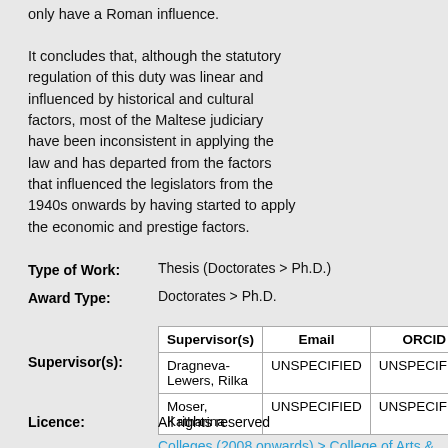only have a Roman influence.
It concludes that, although the statutory regulation of this duty was linear and influenced by historical and cultural factors, most of the Maltese judiciary have been inconsistent in applying the law and has departed from the factors that influenced the legislators from the 1940s onwards by having started to apply the economic and prestige factors.
|  |  |
| --- | --- |
| Type of Work: | Thesis (Doctorates > Ph.D.) |
| Award Type: | Doctorates > Ph.D. |
| Supervisor(s) | Email | ORCID |
| --- | --- | --- |
| Dragneva-Lewers, Rilka | UNSPECIFIED | UNSPECIFIED |
| Moser, Katharina | UNSPECIFIED | UNSPECIFIED |
Licence:   All rights reserved
College/Faculty:   Colleges (2008 onwards) > College of Arts & Law